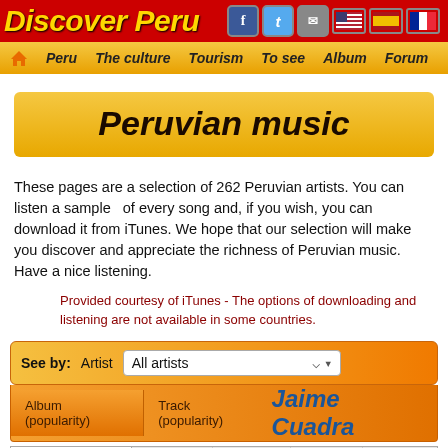Discover Peru
Peruvian music
These pages are a selection of 262 Peruvian artists. You can listen a sample of every song and, if you wish, you can download it from iTunes. We hope that our selection will make you discover and appreciate the richness of Peruvian music. Have a nice listening.
Provided courtesy of iTunes - The options of downloading and listening are not available in some countries.
See by: Artist All artists
Album (popularity) Track (popularity) Jaime Cuadra
| Name | Artist | Time | Price |
| --- | --- | --- | --- |